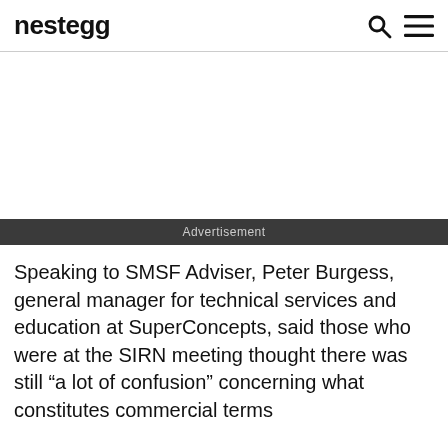nestegg
[Figure (other): Advertisement placeholder area]
Speaking to SMSF Adviser, Peter Burgess, general manager for technical services and education at SuperConcepts, said those who were at the SIRN meeting thought there was still “a lot of confusion” concerning what constitutes commercial terms